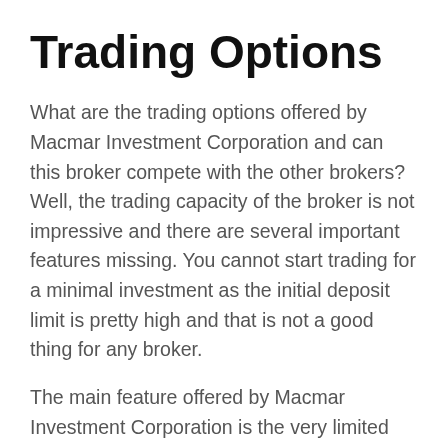Trading Options
What are the trading options offered by Macmar Investment Corporation and can this broker compete with the other brokers? Well, the trading capacity of the broker is not impressive and there are several important features missing. You cannot start trading for a minimal investment as the initial deposit limit is pretty high and that is not a good thing for any broker.
The main feature offered by Macmar Investment Corporation is the very limited trading options. This means you can use this broker to execute trades on a limited or no-limits basis and many traders are going to have issues with this. Once you deposit any amount, it will be available to trade with on the exchange.